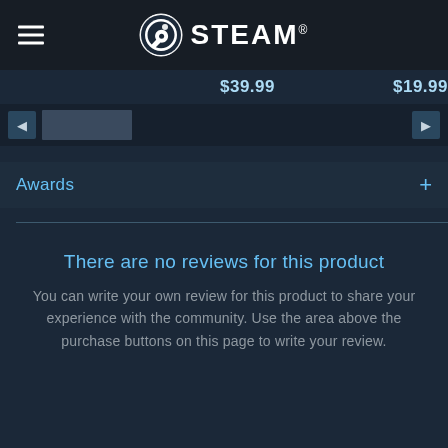STEAM®
$39.99    $19.99
Awards +
There are no reviews for this product
You can write your own review for this product to share your experience with the community. Use the area above the purchase buttons on this page to write your review.